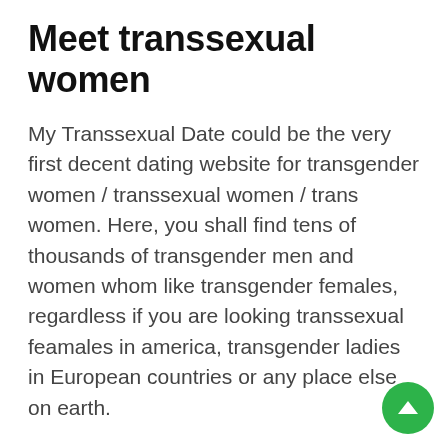Meet transsexual women
My Transsexual Date could be the very first decent dating website for transgender women / transsexual women / trans women. Here, you shall find tens of thousands of transgender men and women whom like transgender females, regardless if you are looking transsexual feamales in america, transgender ladies in European countries or any place else on earth.
Unlike other internet dating sites for trans ladies, we emphasize honest relationship and promote genuine relationships that are loving. Trans females can be ladies in unique right, whom deserve to be respected and treated as a result,